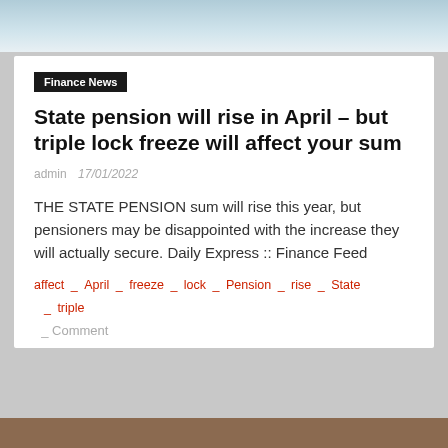[Figure (photo): Partial photo at top of page showing people with documents]
Finance News
State pension will rise in April – but triple lock freeze will affect your sum
admin   17/01/2022
THE STATE PENSION sum will rise this year, but pensioners may be disappointed with the increase they will actually secure. Daily Express :: Finance Feed
affect  _  April  _  freeze  _  lock  _  Pension  _  rise  _  State  _  triple
_  Comment